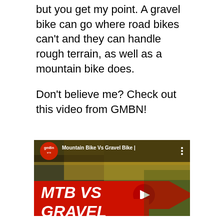but you get my point. A gravel bike can go where road bikes can't and they can handle rough terrain, as well as a mountain bike does.
Don't believe me? Check out this video from GMBN!
[Figure (screenshot): YouTube video thumbnail showing 'Mountain Bike Vs Gravel Bike' from GMBN channel. The thumbnail shows two cyclists riding through an autumn forest. Bold red and white text reads 'MTB VS GRAVEL'. A YouTube play button is visible in the center. Below the video is an ad bar: 'Sleep Music by Liquid Mind' with an 'Open' button on the right.]